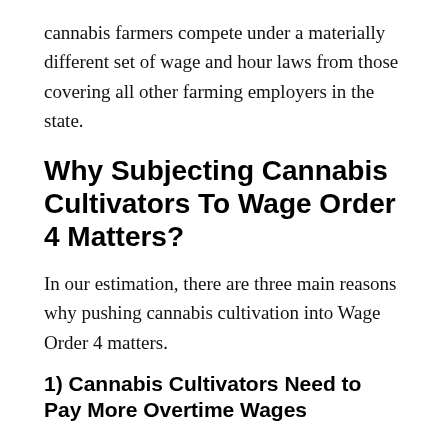cannabis farmers compete under a materially different set of wage and hour laws from those covering all other farming employers in the state.
Why Subjecting Cannabis Cultivators To Wage Order 4 Matters?
In our estimation, there are three main reasons why pushing cannabis cultivation into Wage Order 4 matters.
1) Cannabis Cultivators Need to Pay More Overtime Wages